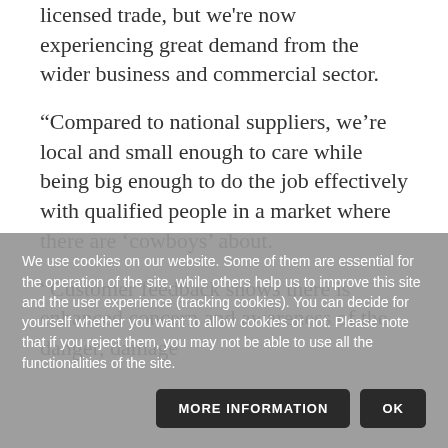licensed trade, but we're now experiencing great demand from the wider business and commercial sector.
“Compared to national suppliers, we’re local and small enough to care while being big enough to do the job effectively with qualified people in a market where there are ‘cowboys’ about.
“Customer feedback shows there is enhanced concern and awareness of the danger, damage
We use cookies on our website. Some of them are essential for the operation of the site, while others help us to improve this site and the user experience (tracking cookies). You can decide for yourself whether you want to allow cookies or not. Please note that if you reject them, you may not be able to use all the functionalities of the site.